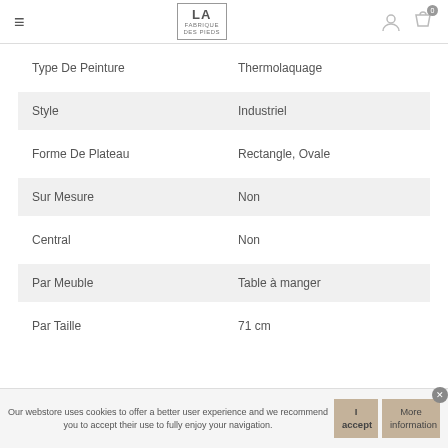LA FABRIQUE DES PIEDS — navigation header with hamburger menu, logo, user icon, and cart icon (0 items)
| Type De Peinture | Thermolaquage |
| Style | Industriel |
| Forme De Plateau | Rectangle, Ovale |
| Sur Mesure | Non |
| Central | Non |
| Par Meuble | Table à manger |
| Par Taille | 71 cm |
Our webstore uses cookies to offer a better user experience and we recommend you to accept their use to fully enjoy your navigation.